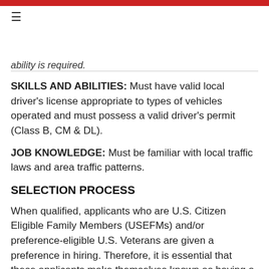ability is required.
SKILLS AND ABILITIES:  Must have valid local driver's license appropriate to types of vehicles operated and must possess a valid driver's permit (Class B, CM & DL).
JOB KNOWLEDGE:  Must be familiar with local traffic laws and area traffic patterns.
SELECTION PROCESS
When qualified, applicants who are U.S. Citizen Eligible Family Members (USEFMs) and/or preference-eligible U.S. Veterans are given a preference in hiring.  Therefore, it is essential that these applicants make themselves known as having a hiring preference and specifically address the